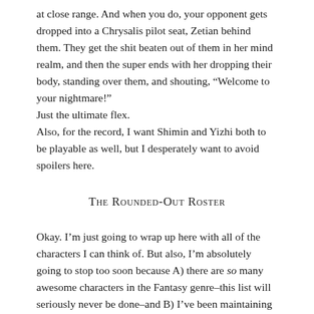at close range. And when you do, your opponent gets dropped into a Chrysalis pilot seat, Zetian behind them. They get the shit beaten out of them in her mind realm, and then the super ends with her dropping their body, standing over them, and shouting, “Welcome to your nightmare!” Just the ultimate flex. Also, for the record, I want Shimin and Yizhi both to be playable as well, but I desperately want to avoid spoilers here.
The Rounded-Out Roster
Okay. I’m just going to wrap up here with all of the characters I can think of. But also, I’m absolutely going to stop too soon because A) there are so many awesome characters in the Fantasy genre–this list will seriously never be done–and B) I’ve been maintaining